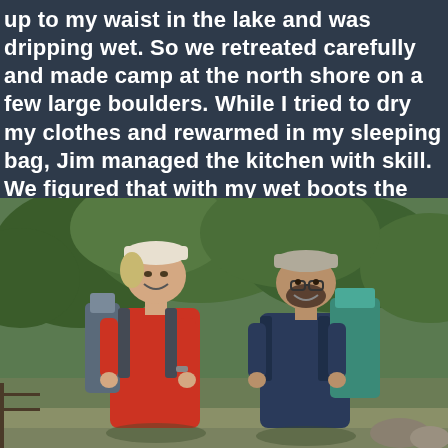up to my waist in the lake and was dripping wet. So we retreated carefully and made camp at the north shore on a few large boulders. While I tried to dry my clothes and rewarmed in my sleeping bag, Jim managed the kitchen with skill. We figured that with my wet boots the climb wouldn't happen and instead of staying overnight we decided to hike out the same evening.
[Figure (photo): Two smiling hikers with large backpacks standing on a trail. The hiker on the left wears a red shirt and a white cap; the hiker on the right wears a dark blue shirt and a grey cap with glasses. Both have large backpacking packs. Green trees and foliage are visible in the background.]